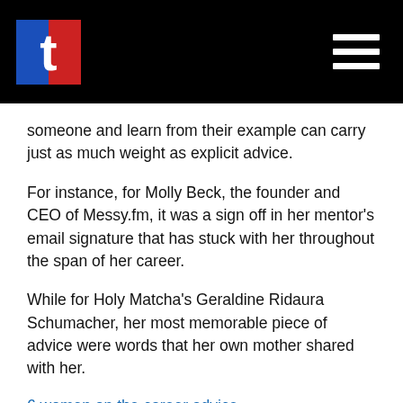t [logo] [hamburger menu]
someone and learn from their example can carry just as much weight as explicit advice.
For instance, for Molly Beck, the founder and CEO of Messy.fm, it was a sign off in her mentor's email signature that has stuck with her throughout the span of her career.
While for Holy Matcha's Geraldine Ridaura Schumacher, her most memorable piece of advice were words that her own mother shared with her.
6 women on the career advice
National News